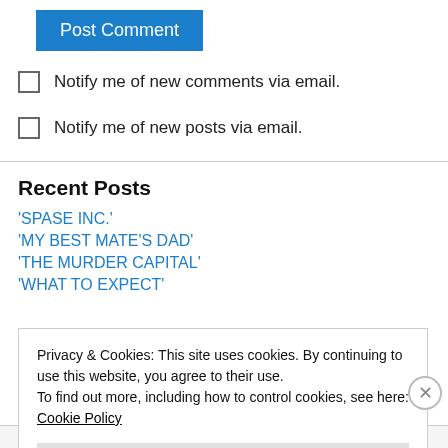Post Comment
Notify me of new comments via email.
Notify me of new posts via email.
Recent Posts
'SPASE INC.'
'MY BEST MATE'S DAD'
'THE MURDER CAPITAL'
'WHAT TO EXPECT'
Privacy & Cookies: This site uses cookies. By continuing to use this website, you agree to their use. To find out more, including how to control cookies, see here: Cookie Policy
Close and accept
Advertisements